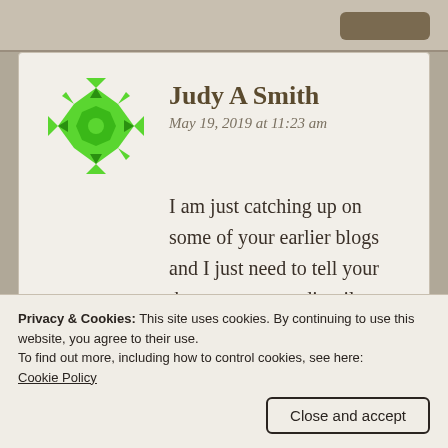[Figure (illustration): Green snowflake/geometric avatar for Judy A Smith]
Judy A Smith
May 19, 2019 at 11:23 am
I am just catching up on some of your earlier blogs and I just need to tell your that your extraordinarily beautiful garden and fabulous photos leave me bedazzled, We do not have the same birds here in the west so I loved those pics as well. Thank you for all of your
Privacy & Cookies: This site uses cookies. By continuing to use this website, you agree to their use.
To find out more, including how to control cookies, see here:
Cookie Policy
Close and accept